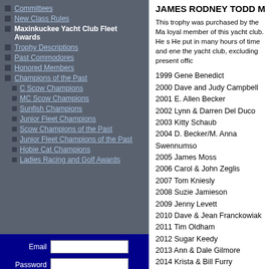Committees
New Class Rules
Maxinkuckee Yacht Club Fleet Awards
Trophy Descriptions
Past Commodores
Honored Members
Champions of the Past
C Scow Champions
MC Scow Champions
Sunfish Champions
Junior Fleet Champions
Scow Champions of the Past
Junior Fleet Champions of the Past
Hobie Cat Champions
Ladies Racing and Golf Awards
JAMES RODNEY TODD M
This trophy was purchased by the Ma loyal member of this yacht club. He s He put in many hours of time and ene the yacht club, excluding present offic
1999 Gene Benedict
2000 Dave and Judy Campbell
2001 E. Allen Becker
2002 Lynn & Darren Del Duco
2003 Kitty Schaub
2004 D. Becker/M. Anna Swennumso
2005 James Moss
2006 Carol & John Zeglis
2007 Tom Kniesly
2008 Suzie Jamieson
2009 Jenny Levett
2010 Dave & Jean Franckowiak
2011 Tim Oldham
2012 Sugar Keedy
2013 Ann & Dale Gilmore
2014 Krista & Bill Furry
2015 Dave Franckowiak
2016 Susan Becker
2017 Bill Becker
2018 Dee Meeker
2019 Julie Spencer